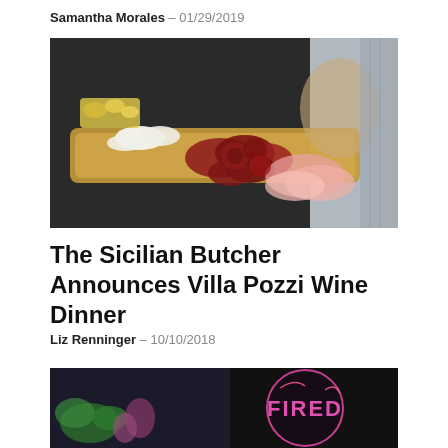Samantha Morales – 01/29/2019
[Figure (photo): A wooden charcuterie board with sliced cured meats, fresh mozzarella, pickled vegetables, and other antipasto items arranged on a table.]
The Sicilian Butcher Announces Villa Pozzi Wine Dinner
Liz Renninger – 10/10/2018
[Figure (photo): A dark sign or chalkboard with the word 'FIRED' visible in large letters with colorful illustrations around it.]